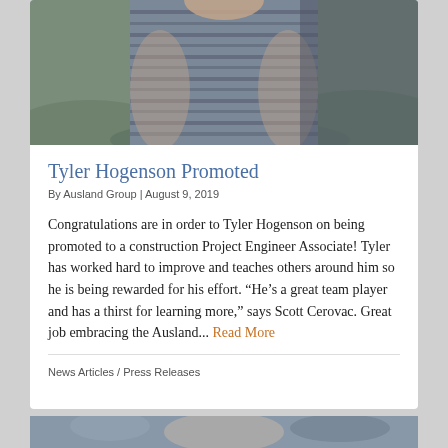[Figure (photo): Cropped photo of a person wearing a striped shirt, shown from shoulders down, outdoors with blurred green background]
Tyler Hogenson Promoted
By Ausland Group | August 9, 2019
Congratulations are in order to Tyler Hogenson on being promoted to a construction Project Engineer Associate! Tyler has worked hard to improve and teaches others around him so he is being rewarded for his effort. “He’s a great team player and has a thirst for learning more,” says Scott Cerovac. Great job embracing the Ausland... Read More
News Articles / Press Releases
[Figure (photo): Partial photo visible at the bottom of the page]